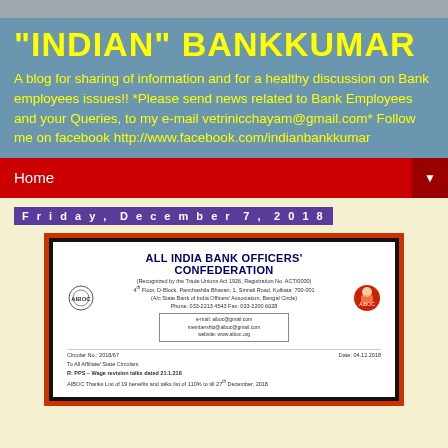"INDIAN" BANKKUMAR
A blog for sharing of information and for a healthy discussion on Bank employees issues!! *Please send news related to Bank Employees and your Queries, to my e-mail vetrinicchayam@gmail.com* Follow me on facebook http://www.facebook.com/indianbankkumar
Home
Friday, December 7, 2018
[Figure (other): Scanned letter from All India Bank Officers' Confederation showing circular header with logos, address block, contact details box, circular number, date, addressee line, and subject lines about PPS/wage revision]